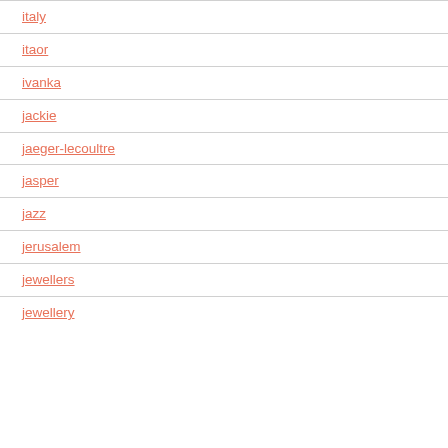italy
itaor
ivanka
jackie
jaeger-lecoultre
jasper
jazz
jerusalem
jewellers
jewellery